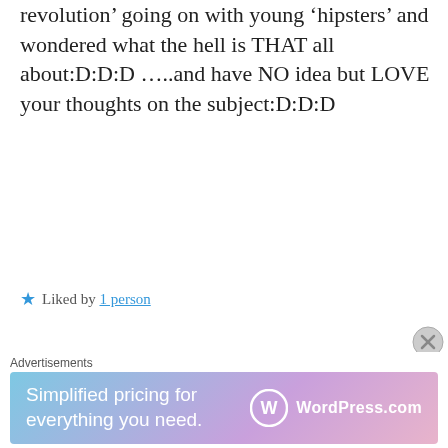revolution’ going on with young ‘hipsters’ and wondered what the hell is THAT all about:D:D:D …..and have NO idea but LOVE your thoughts on the subject:D:D:D
★ Liked by 1 person
DECEMBER 20, 2015 AT 11:59 PM | REPLY
GONEGIRL says:
This is so contradictory. The underlying message is fucked up –